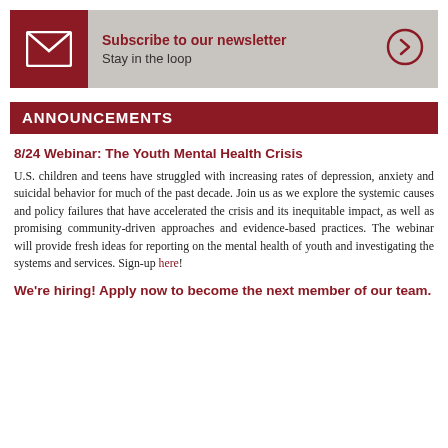[Figure (infographic): Newsletter subscription banner with dark red envelope icon on left, 'Subscribe to our newsletter' bold heading and 'Stay in the loop' subtext in center, and a right-arrow circle button on the right, on a gray background]
ANNOUNCEMENTS
8/24 Webinar: The Youth Mental Health Crisis
U.S. children and teens have struggled with increasing rates of depression, anxiety and suicidal behavior for much of the past decade. Join us as we explore the systemic causes and policy failures that have accelerated the crisis and its inequitable impact, as well as promising community-driven approaches and evidence-based practices. The webinar will provide fresh ideas for reporting on the mental health of youth and investigating the systems and services. Sign-up here!
We're hiring! Apply now to become the next member of our team.